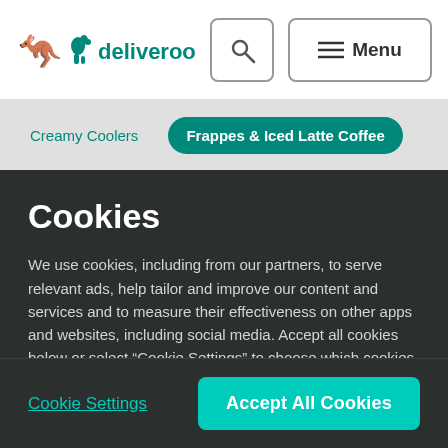[Figure (logo): Deliveroo logo with kangaroo icon and wordmark in teal]
Deliveroo | Search | Menu
Creamy Coolers   Frappes & Iced Latte Coffee
Cookies
We use cookies, including from our partners, to serve relevant ads, help tailor and improve our content and services and to measure their effectiveness on other apps and websites, including social media. Accept all cookies below or select “Cookie Settings” to choose which cookies we can use. To learn more see our Cookie Policy
Cookie Settings   Accept All Cookies